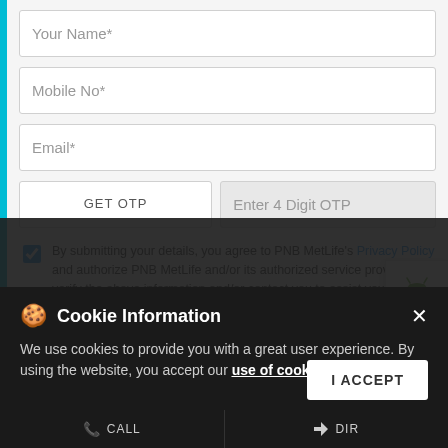Your Name*
Mobile No*
Email*
GET OTP
Enter 4 Digit OTP
By submitting your details, you agree to PNB MetLife's Privacy Policy and authorize PNB MetLife and/or its authorized service providers to verify the above information and/or contact you to assist you with the policy purchase and/or servicing. The approval / authorization provided by you herein will supersede all earlier consents / approvals / disapprovals / registrations made by you in this regard.
[Figure (logo): Android app icon (green robot)]
[Figure (logo): Apple app icon (Apple logo)]
Cookie Information
We use cookies to provide you with a great user experience. By using the website, you accept our use of cookies
I ACCEPT
CALL   DIRECTIONS